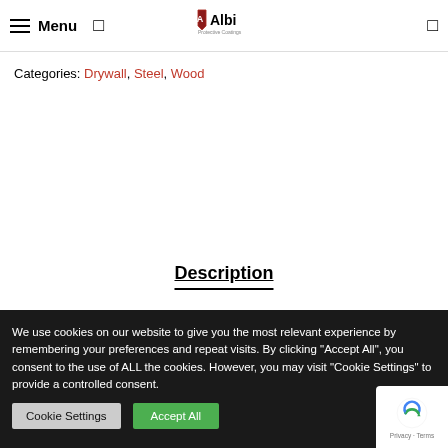Menu | Albi Protective Coatings
Categories: Drywall, Steel, Wood
Description
We use cookies on our website to give you the most relevant experience by remembering your preferences and repeat visits. By clicking "Accept All", you consent to the use of ALL the cookies. However, you may visit "Cookie Settings" to provide a controlled consent.